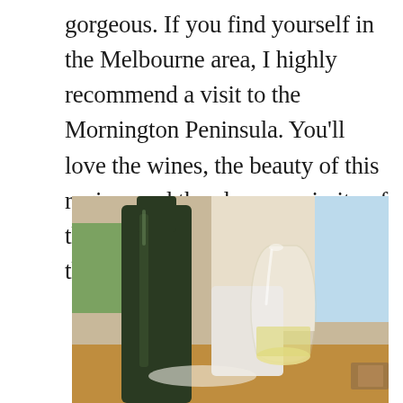gorgeous. If you find yourself in the Melbourne area, I highly recommend a visit to the Mornington Peninsula. You'll love the wines, the beauty of this region, and the close proximity of the wineries to each other and to the beach towns of the Peninsula.
[Figure (photo): Close-up photograph of a dark green wine bottle in the foreground (left side) and a stemless glass of white wine (right side) on a table, with a bright window and curtains visible in the background.]